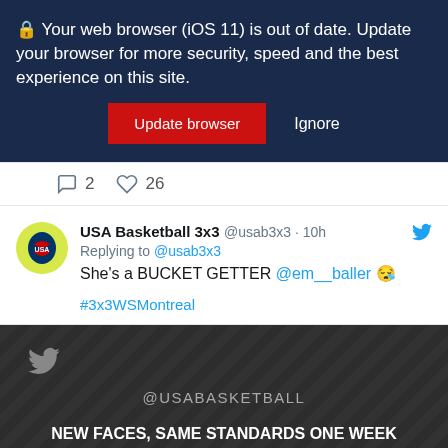🔒 Your web browser (iOS 11) is out of date. Update your browser for more security, speed and the best experience on this site.
Update browser   Ignore
💬 2   ♡ 26
USA Basketball 3x3 @usab3x3 · 10h
Replying to @usab3x3
She's a BUCKET GETTER @em__baller 😪
#3x3WSMontreal
@USABASKETBALL
NEW FACES, SAME STANDARDS ONE WEEK FROM TONIGHT, THE 🏀🏀 #USABWNT IS BACK IN ACTION FOR THE USA BASKETBALL SHOWCASE...